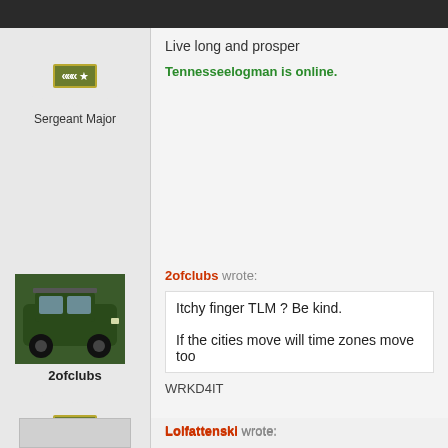Live long and prosper
Tennesseelogman is online.
Sergeant Major
2ofclubs wrote:
Itchy finger TLM ? Be kind.
If the cities move will time zones move too
WRKD4IT
2ofclubs
Sergeant Major
Lolfattenski wrote:
Im in